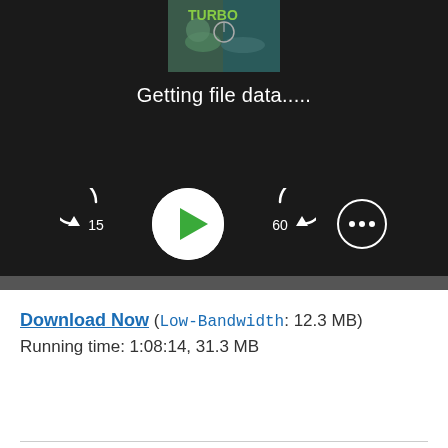[Figure (screenshot): Video/audio player interface showing a thumbnail image at top, 'Getting file data.....' text in center, and playback controls at bottom including skip-back 15, play button, skip-forward 60, and options button. Dark background.]
Download Now (Low-Bandwidth: 12.3 MB)
Running time: 1:08:14, 31.3 MB